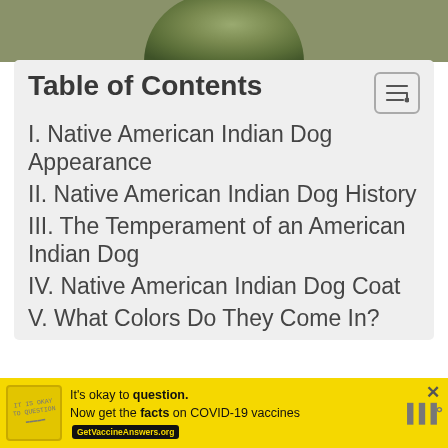[Figure (photo): Partial circular photo of a dog (likely Native American Indian Dog) with natural outdoor background, cropped at top of page]
Table of Contents
I. Native American Indian Dog Appearance
II. Native American Indian Dog History
III. The Temperament of an American Indian Dog
IV. Native American Indian Dog Coat
V. What Colors Do They Come In?
[Figure (advertisement): Yellow advertisement banner: It's okay to question. Now get the facts on COVID-19 vaccines. GetVaccineAnswers.org]